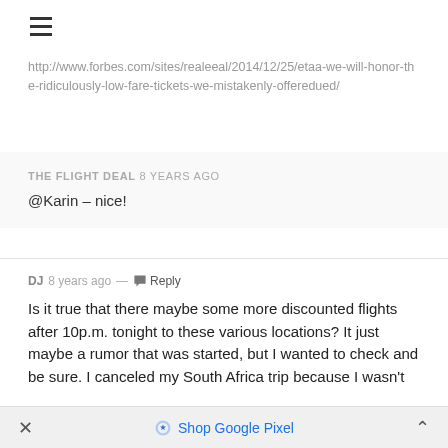☰
http://www.forbes.com/sites/realeeal/2014/12/25/etaa-we-will-honor-the-ridiculously-low-fare-tickets-we-mistakenly-offeredued/
THE FLIGHT DEAL 8 years ago
@Karin – nice!
DJ 8 years ago — Reply
Is it true that there maybe some more discounted flights after 10p.m. tonight to these various locations? It just maybe a rumor that was started, but I wanted to check and be sure. I canceled my South Africa trip because I wasn't
✕  Shop Google Pixel  ˄